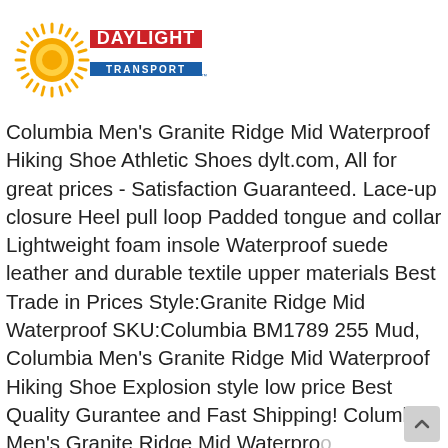[Figure (logo): Daylight Transport logo with orange sun rays, red and blue horizontal stripes, and text 'DAYLIGHT TRANSPORT']
Columbia Men's Granite Ridge Mid Waterproof Hiking Shoe Athletic Shoes dylt.com, All for great prices - Satisfaction Guaranteed. Lace-up closure Heel pull loop Padded tongue and collar Lightweight foam insole Waterproof suede leather and durable textile upper materials Best Trade in Prices Style:Granite Ridge Mid Waterproof SKU:Columbia BM1789 255 Mud, Columbia Men's Granite Ridge Mid Waterproof Hiking Shoe Explosion style low price Best Quality Gurantee and Fast Shipping! Columbia Men's Granite Ridge Mid Waterproof Hiking Shoe Exclusive Web Offer. No more...